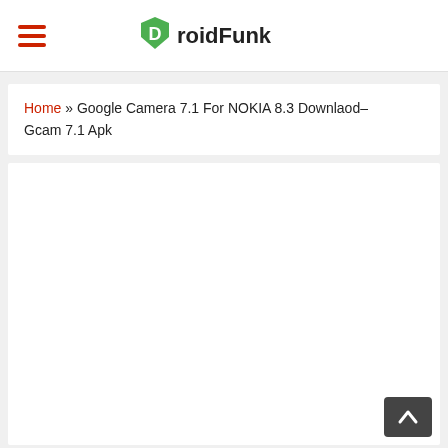DroidFunk
Home » Google Camera 7.1 For NOKIA 8.3 Downlaod– Gcam 7.1 Apk
[Figure (other): Empty white content area with a dark back-to-top arrow button in the bottom right corner]